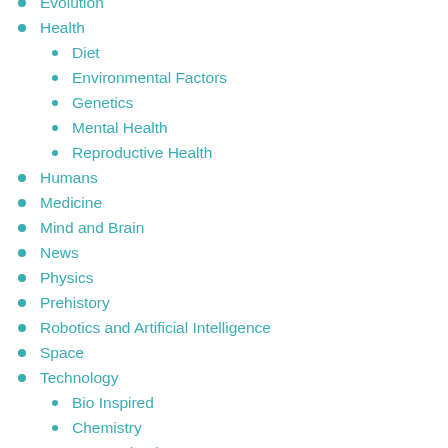Evolution
Health
Diet
Environmental Factors
Genetics
Mental Health
Reproductive Health
Humans
Medicine
Mind and Brain
News
Physics
Prehistory
Robotics and Artificial Intelligence
Space
Technology
Bio Inspired
Chemistry
Nanotechnology